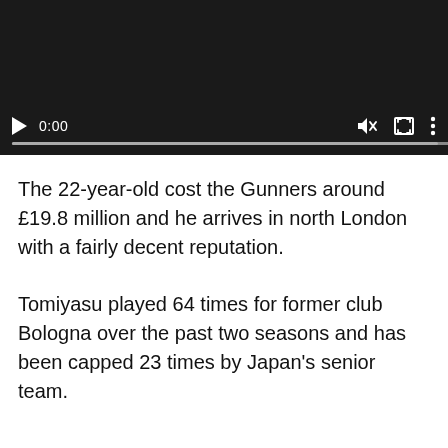[Figure (screenshot): Video player with dark background showing playback controls: play button, timestamp 0:00, mute icon, fullscreen icon, and more options icon, with a progress bar below.]
The 22-year-old cost the Gunners around £19.8 million and he arrives in north London with a fairly decent reputation.
Tomiyasu played 64 times for former club Bologna over the past two seasons and has been capped 23 times by Japan's senior team.